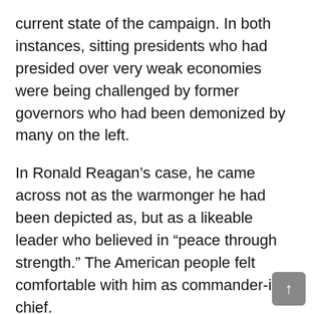current state of the campaign. In both instances, sitting presidents who had presided over very weak economies were being challenged by former governors who had been demonized by many on the left.
In Ronald Reagan’s case, he came across not as the warmonger he had been depicted as, but as a likeable leader who believed in “peace through strength.” The American people felt comfortable with him as commander-in-chief.
Likewise with Mitt Romney on Monday night. Prior to the debates, what most Americans knew about Romney was what they had heard in a 15 second sound-bite in a 30 second commercial or in a Super PAC ad determined to demonize him.
In the debate on foreign policy and national security, Mitt Romney talked about securing “principles of